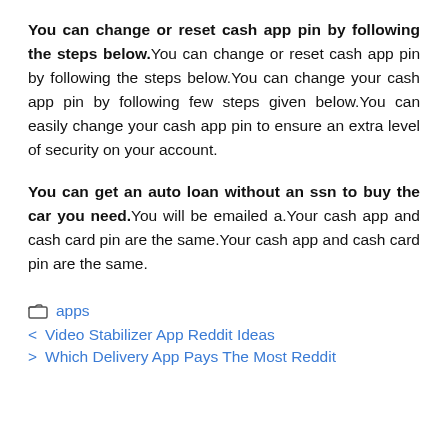You can change or reset cash app pin by following the steps below. You can change or reset cash app pin by following the steps below.You can change your cash app pin by following few steps given below.You can easily change your cash app pin to ensure an extra level of security on your account.
You can get an auto loan without an ssn to buy the car you need. You will be emailed a.Your cash app and cash card pin are the same.Your cash app and cash card pin are the same.
apps
< Video Stabilizer App Reddit Ideas
> Which Delivery App Pays The Most Reddit